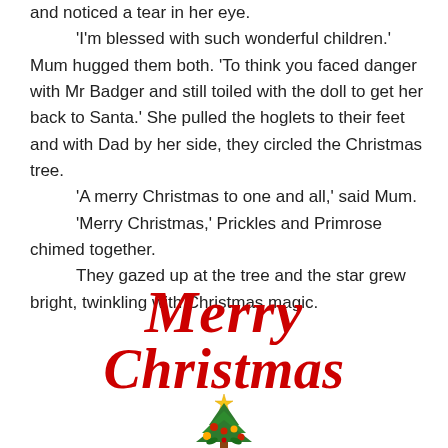and noticed a tear in her eye. 'I'm blessed with such wonderful children.' Mum hugged them both. 'To think you faced danger with Mr Badger and still toiled with the doll to get her back to Santa.' She pulled the hoglets to their feet and with Dad by her side, they circled the Christmas tree. 'A merry Christmas to one and all,' said Mum. 'Merry Christmas,' Prickles and Primrose chimed together. They gazed up at the tree and the star grew bright, twinkling with Christmas magic.
[Figure (illustration): Decorative 'Merry Christmas' text in red italic script font, with a small Christmas tree illustration featuring a gold star on top, red and gold ornaments, and holly decorations at the bottom.]